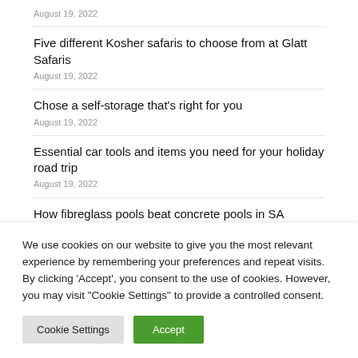August 19, 2022
Five different Kosher safaris to choose from at Glatt Safaris
August 19, 2022
Chose a self-storage that's right for you
August 19, 2022
Essential car tools and items you need for your holiday road trip
August 19, 2022
How fibreglass pools beat concrete pools in SA
We use cookies on our website to give you the most relevant experience by remembering your preferences and repeat visits. By clicking 'Accept', you consent to the use of cookies. However, you may visit 'Cookie Settings' to provide a controlled consent.
Cookie Settings | Accept